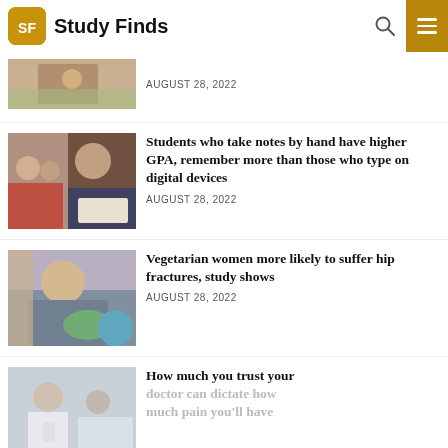Study Finds
[Figure (photo): Partial view of a person, cropped article thumbnail]
AUGUST 28, 2022
[Figure (photo): Students taking notes in a classroom, boy writing on paper in foreground]
Students who take notes by hand have higher GPA, remember more than those who type on digital devices
AUGUST 28, 2022
[Figure (photo): Woman eating salad, sitting on exercise ball]
Vegetarian women more likely to suffer hip fractures, study shows
AUGUST 28, 2022
[Figure (photo): Doctor with patient, partially visible]
How much you trust your doctor can dictate how much pain you'll have